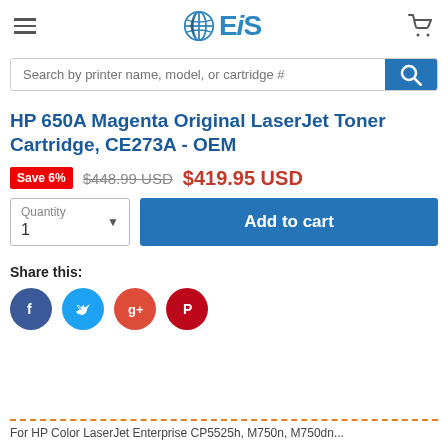EIS (logo with hamburger menu and cart)
Search by printer name, model, or cartridge #
HP 650A Magenta Original LaserJet Toner Cartridge, CE273A - OEM
Save 6%  $448.99 USD  $419.95 USD
Quantity 1  Add to cart
Share this:
For HP Color LaserJet Enterprise CP5525h, M750n, M750dn...